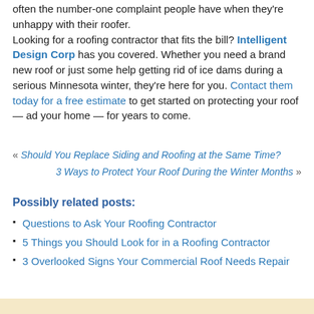often the number-one complaint people have when they're unhappy with their roofer. Looking for a roofing contractor that fits the bill? Intelligent Design Corp has you covered. Whether you need a brand new roof or just some help getting rid of ice dams during a serious Minnesota winter, they're here for you. Contact them today for a free estimate to get started on protecting your roof — ad your home — for years to come.
« Should You Replace Siding and Roofing at the Same Time?
3 Ways to Protect Your Roof During the Winter Months »
Possibly related posts:
Questions to Ask Your Roofing Contractor
5 Things you Should Look for in a Roofing Contractor
3 Overlooked Signs Your Commercial Roof Needs Repair